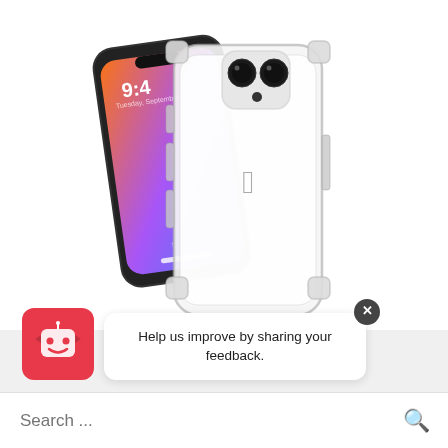[Figure (photo): Product photo of a clear iPhone 12 case with an iPhone 12 shown beside it. The case is transparent/clear, and an iPhone 12 with orange-gradient wallpaper is visible behind the case. The case features bumper corners and a camera cutout.]
[Figure (screenshot): A chatbot widget in the bottom-left corner showing a red/pink robot face icon and a speech bubble popup saying 'Help us improve by sharing your feedback.' with a close (X) button and a search bar at the bottom reading 'Search ...']